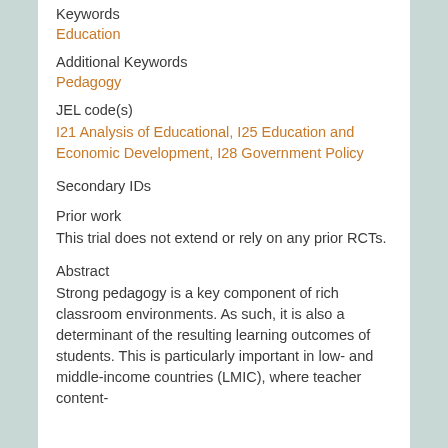Keywords
Education
Additional Keywords
Pedagogy
JEL code(s)
I21 Analysis of Educational, I25 Education and Economic Development, I28 Government Policy
Secondary IDs
Prior work
This trial does not extend or rely on any prior RCTs.
Abstract
Strong pedagogy is a key component of rich classroom environments. As such, it is also a determinant of the resulting learning outcomes of students. This is particularly important in low- and middle-income countries (LMIC), where teacher content-